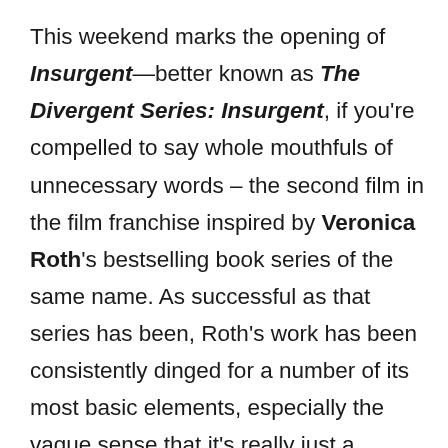This weekend marks the opening of Insurgent—better known as The Divergent Series: Insurgent, if you're compelled to say whole mouthfuls of unnecessary words – the second film in the film franchise inspired by Veronica Roth's bestselling book series of the same name. As successful as that series has been, Roth's work has been consistently dinged for a number of its most basic elements, especially the vague sense that it's really just a reworked Hunger Games (future dystopia, one chosen gal, lots of fighting, the similarities are certainly there and it's silly to ignore them). Still, the franchise has its own dedicated fanbase (having attended